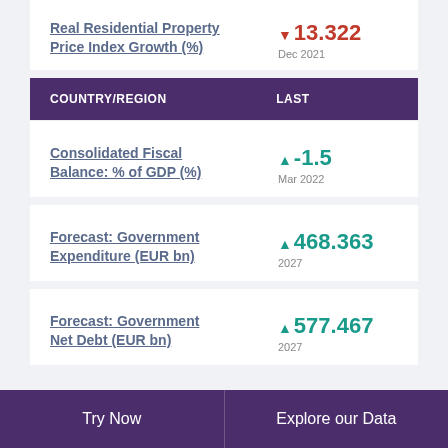Real Residential Property Price Index Growth (%)
| COUNTRY/REGION | LAST |
| --- | --- |
Consolidated Fiscal Balance: % of GDP (%)
Forecast: Government Expenditure (EUR bn)
Forecast: Government Net Debt (EUR bn)
Try Now | Explore our Data